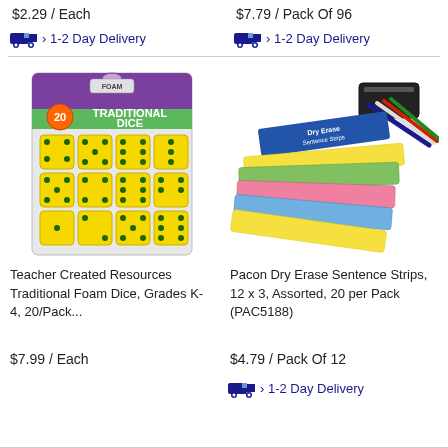$2.29 / Each
$7.79 / Pack Of 96
› 1-2 Day Delivery
› 1-2 Day Delivery
[Figure (photo): Teacher Created Resources Traditional Foam Dice product package showing 20 yellow foam dice with black dots]
[Figure (photo): Pacon Dry Erase Sentence Strips assorted colors with markers and eraser]
Teacher Created Resources Traditional Foam Dice, Grades K-4, 20/Pack...
Pacon Dry Erase Sentence Strips, 12 x 3, Assorted, 20 per Pack (PAC5188)
$7.99 / Each
$4.79 / Pack Of 12
› 1-2 Day Delivery